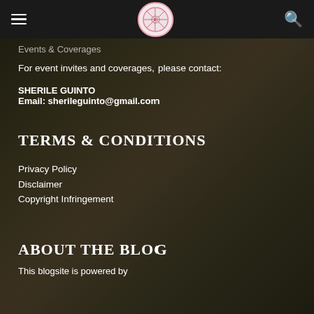Navigation bar with hamburger menu, circular logo, and search icon
Events & Coverages
For event invites and coverages, please contact:
SHERILE GUINTO
Email: sherileguinto@gmail.com
TERMS & CONDITIONS
Privacy Policy
Disclaimer
Copyright Infringement
ABOUT THE BLOG
This blogsite is powered by